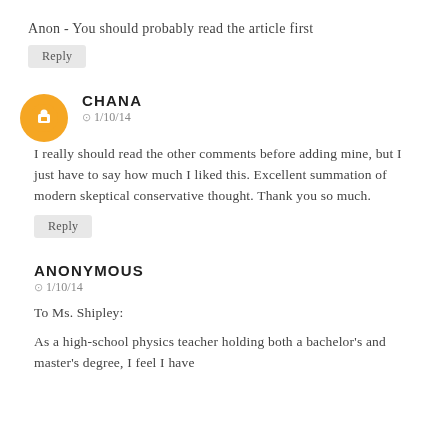Anon - You should probably read the article first
Reply
CHANA
⊙ 1/10/14
I really should read the other comments before adding mine, but I just have to say how much I liked this. Excellent summation of modern skeptical conservative thought. Thank you so much.
Reply
ANONYMOUS
⊙ 1/10/14
To Ms. Shipley:
As a high-school physics teacher holding both a bachelor's and master's degree, I feel I have